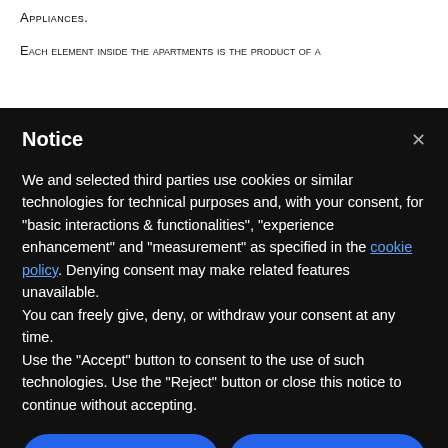APPLIANCES.
EACH ELEMENT INSIDE THE APARTMENTS IS THE PRODUCT OF A
Notice
We and selected third parties use cookies or similar technologies for technical purposes and, with your consent, for "basic interactions & functionalities", "experience enhancement" and "measurement" as specified in the cookie policy. Denying consent may make related features unavailable.
You can freely give, deny, or withdraw your consent at any time.
Use the "Accept" button to consent to the use of such technologies. Use the "Reject" button or close this notice to continue without accepting.
Reject
Accept
Learn more and customise